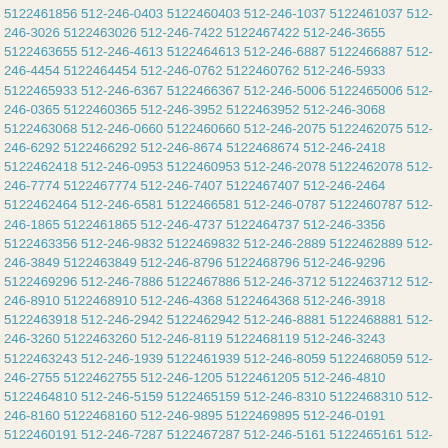5122461856 512-246-0403 5122460403 512-246-1037 5122461037 512-246-3026 5122463026 512-246-7422 5122467422 512-246-3655 5122463655 512-246-4613 5122464613 512-246-6887 5122466887 512-246-4454 5122464454 512-246-0762 5122460762 512-246-5933 5122465933 512-246-6367 5122466367 512-246-5006 5122465006 512-246-0365 5122460365 512-246-3952 5122463952 512-246-3068 5122463068 512-246-0660 5122460660 512-246-2075 5122462075 512-246-6292 5122466292 512-246-8674 5122468674 512-246-2418 5122462418 512-246-0953 5122460953 512-246-2078 5122462078 512-246-7774 5122467774 512-246-7407 5122467407 512-246-2464 5122462464 512-246-6581 5122466581 512-246-0787 5122460787 512-246-1865 5122461865 512-246-4737 5122464737 512-246-3356 5122463356 512-246-9832 5122469832 512-246-2889 5122462889 512-246-3849 5122463849 512-246-8796 5122468796 512-246-9296 5122469296 512-246-7886 5122467886 512-246-3712 5122463712 512-246-8910 5122468910 512-246-4368 5122464368 512-246-3918 5122463918 512-246-2942 5122462942 512-246-8881 5122468881 512-246-3260 5122463260 512-246-8119 5122468119 512-246-3243 5122463243 512-246-1939 5122461939 512-246-8059 5122468059 512-246-2755 5122462755 512-246-1205 5122461205 512-246-4810 5122464810 512-246-5159 5122465159 512-246-8310 5122468310 512-246-8160 5122468160 512-246-9895 5122469895 512-246-0191 5122460191 512-246-7287 5122467287 512-246-5161 5122465161 512-246-3507 5122463507 512-246-3778 5122463778 512-246-7238 5122467238 512-246-6072 5122466072 512-246-5898 5122465898 512-246-9350 5122469350 512-246-6995 5122466995 512-246-6574